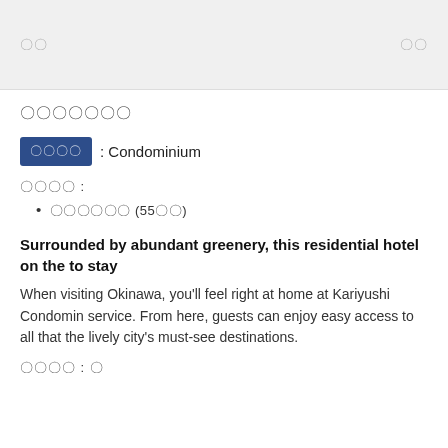〇〇　〇〇
〇〇〇〇〇〇〇
〇〇〇〇: Condominium
〇〇〇〇 :
〇〇〇〇〇〇 (55〇〇)
Surrounded by abundant greenery, this residential hotel on the to stay
When visiting Okinawa, you'll feel right at home at Kariyushi Condomin service. From here, guests can enjoy easy access to all that the lively city's must-see destinations.
〇〇〇〇 : 〇